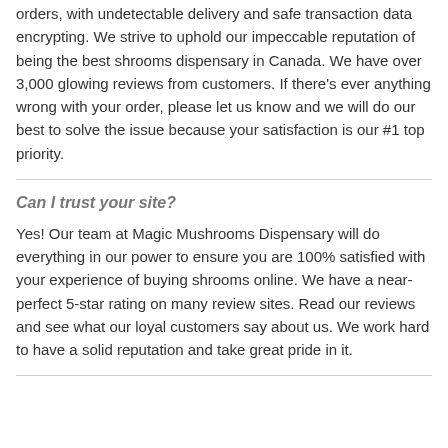orders, with undetectable delivery and safe transaction data encrypting. We strive to uphold our impeccable reputation of being the best shrooms dispensary in Canada. We have over 3,000 glowing reviews from customers. If there's ever anything wrong with your order, please let us know and we will do our best to solve the issue because your satisfaction is our #1 top priority.
Can I trust your site?
Yes! Our team at Magic Mushrooms Dispensary will do everything in our power to ensure you are 100% satisfied with your experience of buying shrooms online. We have a near-perfect 5-star rating on many review sites. Read our reviews and see what our loyal customers say about us. We work hard to have a solid reputation and take great pride in it.